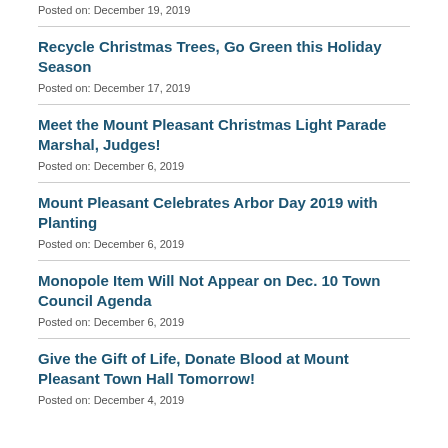Posted on: December 19, 2019
Recycle Christmas Trees, Go Green this Holiday Season
Posted on: December 17, 2019
Meet the Mount Pleasant Christmas Light Parade Marshal, Judges!
Posted on: December 6, 2019
Mount Pleasant Celebrates Arbor Day 2019 with Planting
Posted on: December 6, 2019
Monopole Item Will Not Appear on Dec. 10 Town Council Agenda
Posted on: December 6, 2019
Give the Gift of Life, Donate Blood at Mount Pleasant Town Hall Tomorrow!
Posted on: December 4, 2019